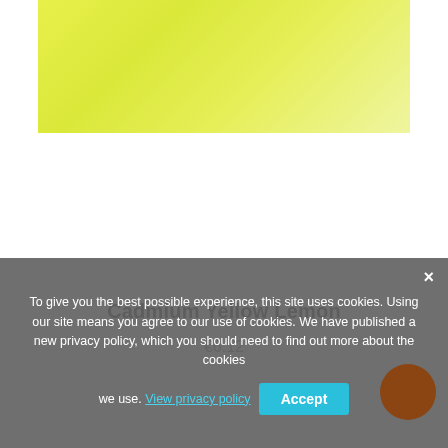[Figure (photo): A swatch of cadmium yellow lemon watercolor paint, showing a bright yellow-green textured color sample on white background.]
Cadmium Yellow Lemon
€6.12
To give you the best possible experience, this site uses cookies. Using our site means you agree to our use of cookies. We have published a new privacy policy, which you should need to find out more about the cookies we use. View privacy policy
Accept